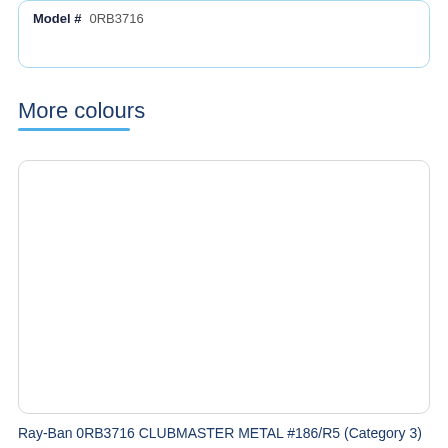Model #    0RB3716
More colours
[Figure (other): Empty product image card with rounded border]
Ray-Ban 0RB3716 CLUBMASTER METAL #186/R5 (Category 3)